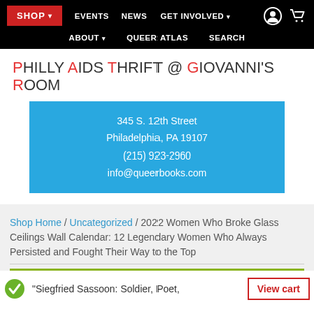SHOP ▾   EVENTS   NEWS   GET INVOLVED ▾   ABOUT ▾   QUEER ATLAS   SEARCH
PHILLY AIDS THRIFT @ GIOVANNI'S ROOM
345 S. 12th Street
Philadelphia, PA 19107
(215) 923-2960
info@queerbooks.com
Shop Home / Uncategorized / 2022 Women Who Broke Glass Ceilings Wall Calendar: 12 Legendary Women Who Always Persisted and Fought Their Way to the Top
"Siegfried Sassoon: Soldier, Poet,   View cart